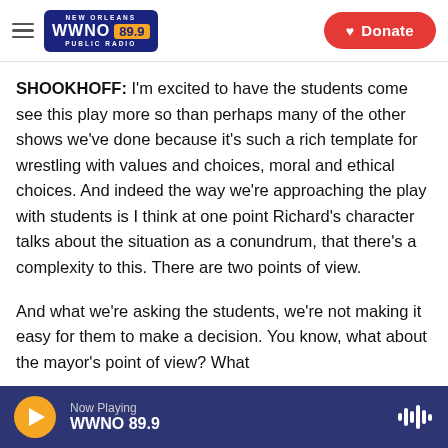WWNO 89.9 NEW ORLEANS PUBLIC RADIO — Donate
SHOOKHOFF: I'm excited to have the students come see this play more so than perhaps many of the other shows we've done because it's such a rich template for wrestling with values and choices, moral and ethical choices. And indeed the way we're approaching the play with students is I think at one point Richard's character talks about the situation as a conundrum, that there's a complexity to this. There are two points of view.
And what we're asking the students, we're not making it easy for them to make a decision. You know, what about the mayor's point of view? What
Now Playing WWNO 89.9